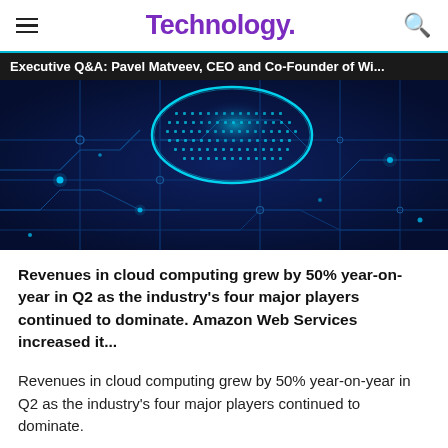Technology.
Executive Q&A: Pavel Matveev, CEO and Co-Founder of Wi...
[Figure (photo): Circuit board with glowing blue digital chip/brain illustration on dark navy background]
Revenues in cloud computing grew by 50% year-on-year in Q2 as the industry's four major players continued to dominate. Amazon Web Services increased it...
Revenues in cloud computing grew by 50% year-on-year in Q2 as the industry's four major players continued to dominate.